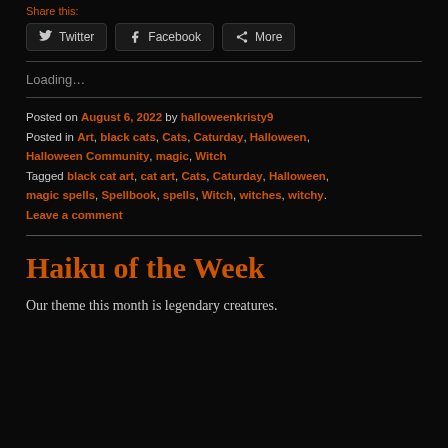Share this:
Twitter  Facebook  More
Loading…
Posted on August 6, 2022 by halloweenkristy9
Posted in Art, black cats, Cats, Caturday, Halloween, Halloween Community, magic, Witch
Tagged black cat art, cat art, Cats, Caturday, Halloween, magic spells, Spellbook, spells, Witch, witches, witchy.
Leave a comment
Haiku of the Week
Our theme this month is legendary creatures.